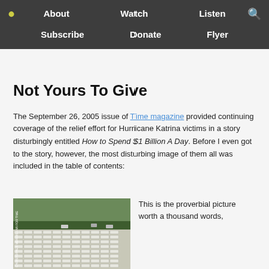About | Watch | Listen | Subscribe | Donate | Flyer
Not Yours To Give
The September 26, 2005 issue of Time magazine provided continuing coverage of the relief effort for Hurricane Katrina victims in a story disturbingly entitled How to Spend $1 Billion A Day. Before I even got to the story, however, the most disturbing image of them all was included in the table of contents:
[Figure (photo): Aerial photograph showing a massive field filled with rows of white FEMA trailers, with green hills and trees in the background. Photo credit: Christopher Morris—VII for Time]
This is the proverbial picture worth a thousand words,